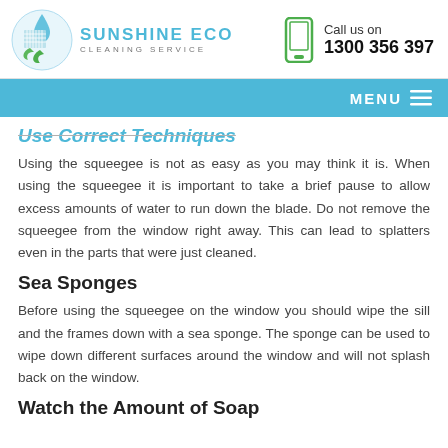[Figure (logo): Sunshine Eco Cleaning Service logo with circular icon showing a building with water droplet and green leaves]
Call us on
1300 356 397
MENU ☰
Use Correct Techniques
Using the squeegee is not as easy as you may think it is. When using the squeegee it is important to take a brief pause to allow excess amounts of water to run down the blade. Do not remove the squeegee from the window right away. This can lead to splatters even in the parts that were just cleaned.
Sea Sponges
Before using the squeegee on the window you should wipe the sill and the frames down with a sea sponge. The sponge can be used to wipe down different surfaces around the window and will not splash back on the window.
Watch the Amount of Soap